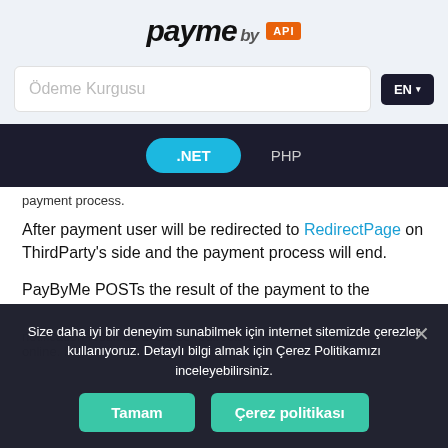[Figure (logo): PayByMe API logo — stylized text 'payme by' with orange 'API' badge]
Ödeme Kurgusu
EN
.NET  PHP
payment process.
After payment user will be redirected to RedirectPage on ThirdParty's side and the payment process will end.
PayByMe POSTs the result of the payment to the
Size daha iyi bir deneyim sunabilmek için internet sitemizde çerezler kullanıyoruz. Detaylı bilgi almak için Çerez Politikamızı inceleyebilirsiniz.
Tamam
Çerez politikası